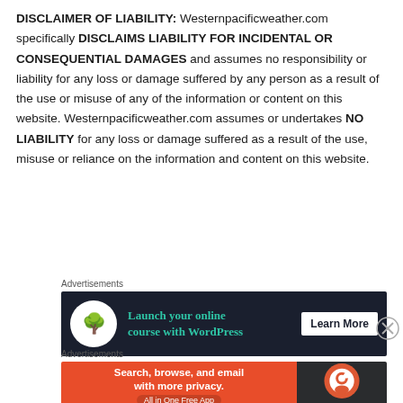DISCLAIMER OF LIABILITY: Westernpacificweather.com specifically DISCLAIMS LIABILITY FOR INCIDENTAL OR CONSEQUENTIAL DAMAGES and assumes no responsibility or liability for any loss or damage suffered by any person as a result of the use or misuse of any of the information or content on this website. Westernpacificweather.com assumes or undertakes NO LIABILITY for any loss or damage suffered as a result of the use, misuse or reliance on the information and content on this website.
Advertisements
[Figure (infographic): Advertisement banner: dark navy background with white circle icon containing a tree/bonsai emoji, green text 'Launch your online course with WordPress', and a white 'Learn More' button on the right.]
Advertisements
[Figure (infographic): Advertisement banner: orange left section with white bold text 'Search, browse, and email with more privacy. All in One Free App', dark right section with DuckDuckGo logo.]